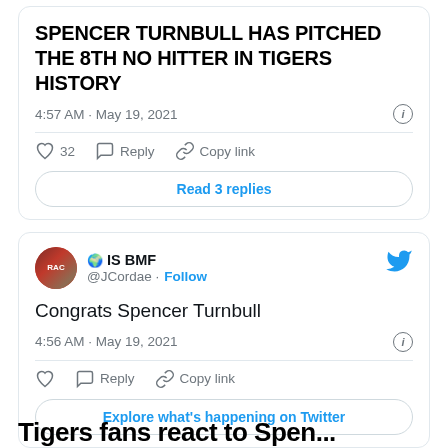SPENCER TURNBULL HAS PITCHED THE 8TH NO HITTER IN TIGERS HISTORY
4:57 AM · May 19, 2021
32   Reply   Copy link
Read 3 replies
[Figure (screenshot): Second tweet card with user IS BMF @JCordae with globe emoji and Follow button, Twitter bird logo top right]
Congrats Spencer Turnbull
4:56 AM · May 19, 2021
Reply   Copy link
Explore what's happening on Twitter
Tigers fans react to Spencer...